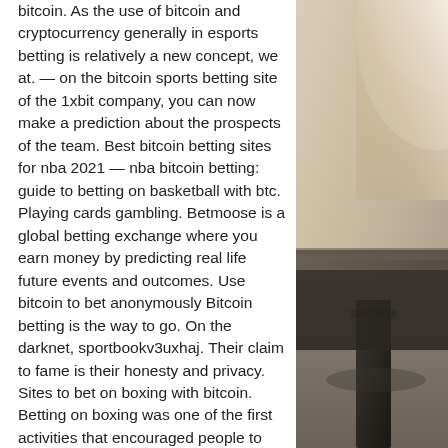bitcoin. As the use of bitcoin and cryptocurrency generally in esports betting is relatively a new concept, we at. — on the bitcoin sports betting site of the 1xbit company, you can now make a prediction about the prospects of the team. Best bitcoin betting sites for nba 2021 — nba bitcoin betting: guide to betting on basketball with btc. Playing cards gambling. Betmoose is a global betting exchange where you earn money by predicting real life future events and outcomes. Use bitcoin to bet anonymously Bitcoin betting is the way to go. On the darknet, sportbookv3uxhaj. Their claim to fame is their honesty and privacy. Sites to bet on boxing with bitcoin. Betting on boxing was one of the first activities that encouraged people to start making bets and with the development. Com – best for all types of betting. Welcome bonus: 10% rakeback using code '. A parimutuel betting experience tailored for the avid bettor,
[Figure (photo): Partial photo showing what appears to be a dark piece of furniture or object on a grey textured carpet/rug, with bright light coming from the upper right area.]